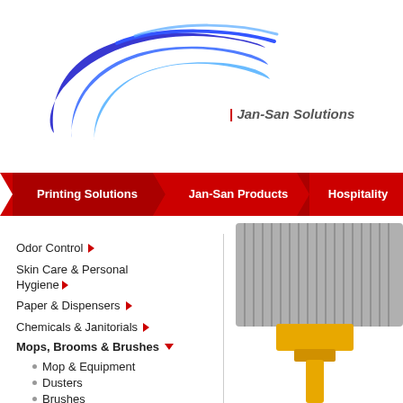[Figure (logo): Blue curved swoosh logo for Jan-San Solutions]
| Jan-San Solutions
[Figure (infographic): Red navigation bar with arrow tabs: Printing Solutions, Jan-San Products, Hospitality]
Odor Control
Skin Care & Personal Hygiene
Paper & Dispensers
Chemicals & Janitorials
Mops, Brooms & Brushes
Mop & Equipment
Dusters
Brushes
[Figure (photo): Photo of a yellow-handled broom with grey bristles]